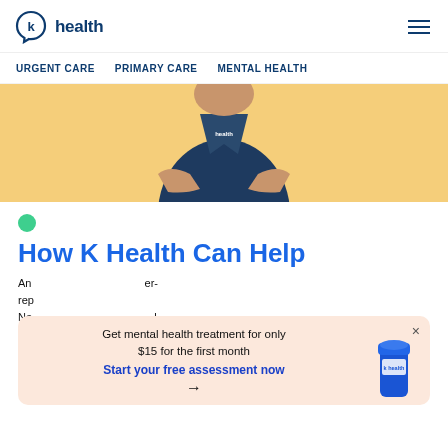K Health — URGENT CARE  PRIMARY CARE  MENTAL HEALTH
[Figure (photo): Healthcare provider in navy K Health jacket with arms crossed, standing against a yellow/cream background]
How K Health Can Help
An ... er-rep... Ne... health illness and fewer than half receive treatment. Our mission is to give...
[Figure (infographic): Popup banner: Get mental health treatment for only $15 for the first month. Start your free assessment now →. With image of a pill bottle.]